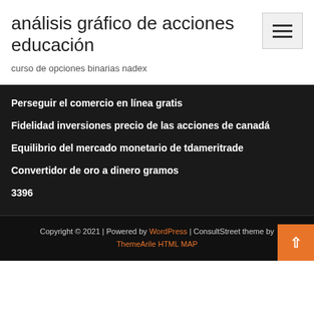análisis gráfico de acciones educación
curso de opciones binarias nadex
Perseguir el comercio en línea gratis
Fidelidad inversiones precio de las acciones de canadá
Equilibrio del mercado monetario de tdameritrade
Convertidor de oro a dinero gramos
3396
Copyright © 2021 | Powered by WordPress | ConsultStreet theme by ThemeArile HTML MAP